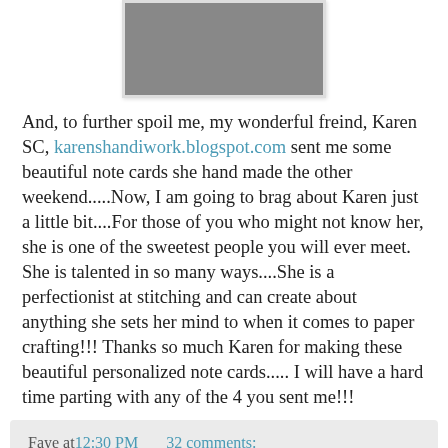[Figure (photo): Partial photo of handmade note cards resting among shells, showing decorative paper crafting with floral and geometric designs in teal, red, and orange.]
And, to further spoil me, my wonderful freind, Karen SC, karenshandiwork.blogspot.com sent me some beautiful note cards she hand made the other weekend.....Now, I am going to brag about Karen just a little bit....For those of you who might not know her, she is one of the sweetest people you will ever meet. She is talented in so many ways....She is a perfectionist at stitching and can create about anything she sets her mind to when it comes to paper crafting!!! Thanks so much Karen for making these beautiful personalized note cards..... I will have a hard time parting with any of the 4 you sent me!!!
Faye at 12:30 PM   32 comments:
Sunday, June 13, 2010
Happy Dance!!!